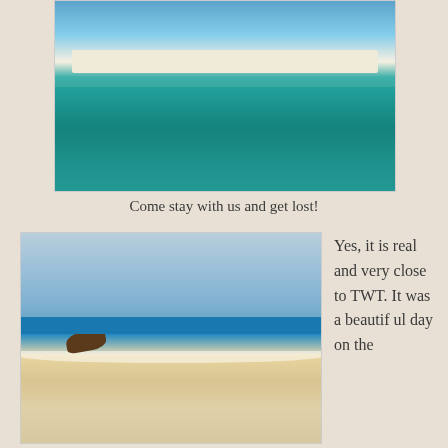[Figure (photo): Aerial/ground-level view of a tropical beach with pristine white sand bar, crystal clear turquoise water, and blue sky with light clouds.]
Come stay with us and get lost!
[Figure (photo): Beach scene with turquoise ocean water, white sandy shore, driftwood on the beach, and a dark treeline on the horizon under a partly cloudy sky.]
Yes, it is real and very close to TWT. It was a beautiful day on the